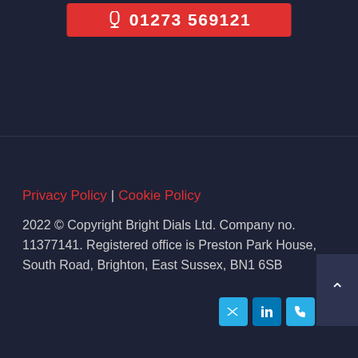[Figure (other): Red button with phone icon and number 01273 569121]
Privacy Policy | Cookie Policy
2022 © Copyright Bright Dials Ltd. Company no. 11377141. Registered office is Preston Park House, South Road, Brighton, East Sussex, BN1 6SB
[Figure (other): LinkedIn and Twitter social media icons, and scroll-to-top arrow button]